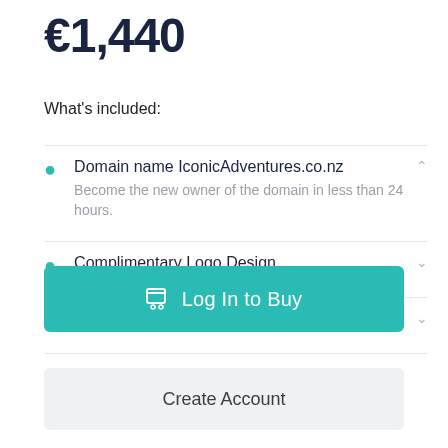€1,440
What's included:
Domain name IconicAdventures.co.nz
Become the new owner of the domain in less than 24 hours.
Complimentary Logo Design
Built-In SEO
Log In to Buy
Create Account